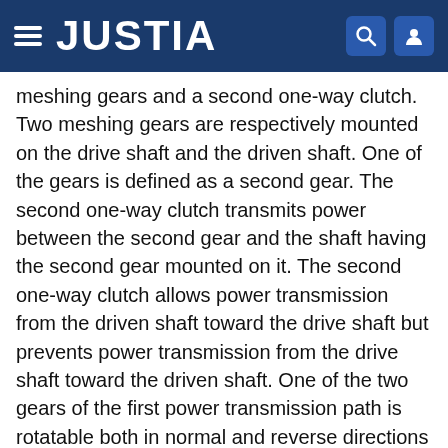JUSTIA
meshing gears and a second one-way clutch. Two meshing gears are respectively mounted on the drive shaft and the driven shaft. One of the gears is defined as a second gear. The second one-way clutch transmits power between the second gear and the shaft having the second gear mounted on it. The second one-way clutch allows power transmission from the driven shaft toward the drive shaft but prevents power transmission from the drive shaft toward the driven shaft. One of the two gears of the first power transmission path is rotatable both in normal and reverse directions relative to the shaft having the one gear mounted on it. The first power transmission path further includes a neutral clutch member movable between connection and disconnection positions relative to one gear of the first power transmission path. The neutral clutch member at the connection position connects the one gear and the